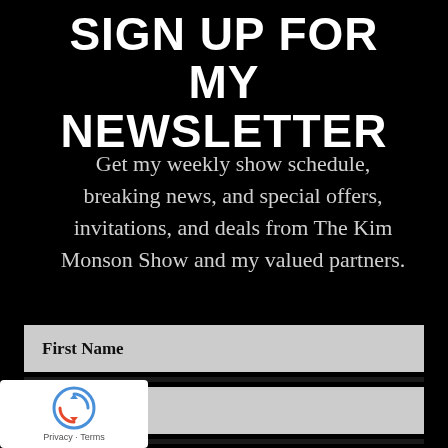SIGN UP FOR MY NEWSLETTER
Get my weekly show schedule, breaking news, and special offers, invitations, and deals from The Kim Monson Show and my valued partners.
First Name
Last Name
Email
SUBSCRIBE
Privacy · Terms